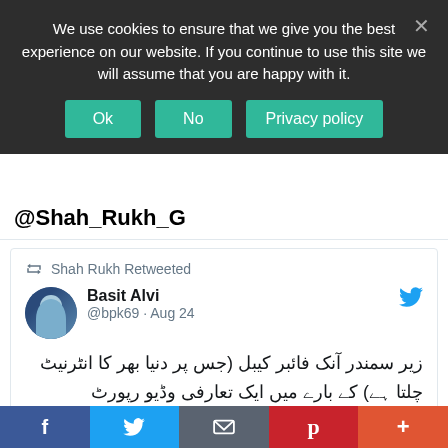We use cookies to ensure that we give you the best experience on our website. If you continue to use this site we will assume that you are happy with it.
@Shah_Rukh_G
Shah Rukh Retweeted
Basit Alvi @bpk69 · Aug 24
زیر سمندر آنک فائبر کیبل (جس پر دنیا بھر کا انٹرنیٹ چلتا ہے) کے بارے میں ایک تعارفی وڈیو رپورٹ ۱/۳
[Figure (screenshot): Profit media thumbnail with dark blue background, 'pt Profit' logo in top left, and green dots along the bottom]
f  (Twitter bird)  (email icon)  p  +